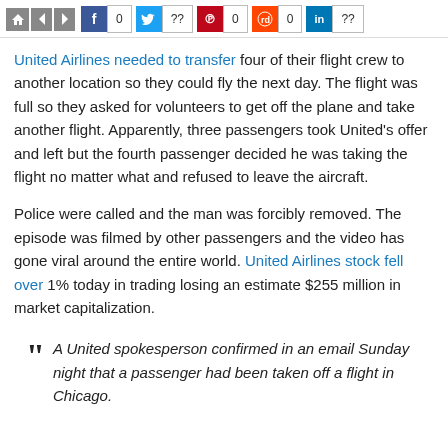Social share bar: Facebook 0, Twitter ??, Pinterest 0, Reddit 0, LinkedIn ??
United Airlines needed to transfer four of their flight crew to another location so they could fly the next day. The flight was full so they asked for volunteers to get off the plane and take another flight. Apparently, three passengers took United's offer and left but the fourth passenger decided he was taking the flight no matter what and refused to leave the aircraft.
Police were called and the man was forcibly removed. The episode was filmed by other passengers and the video has gone viral around the entire world. United Airlines stock fell over 1% today in trading losing an estimate $255 million in market capitalization.
A United spokesperson confirmed in an email Sunday night that a passenger had been taken off a flight in Chicago.